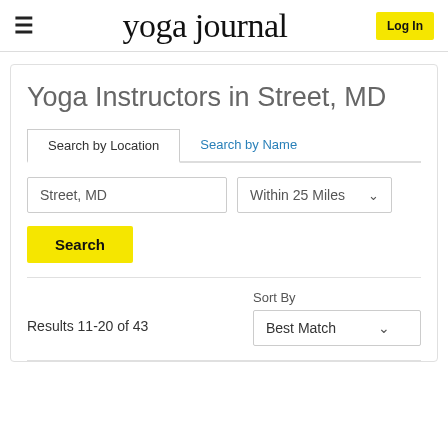yoga journal  Log In
Yoga Instructors in Street, MD
Search by Location  Search by Name
Street, MD  Within 25 Miles
Search
Results 11-20 of 43
Sort By  Best Match